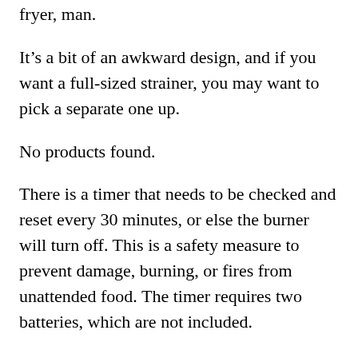fryer, man.
It's a bit of an awkward design, and if you want a full-sized strainer, you may want to pick a separate one up.
No products found.
There is a timer that needs to be checked and reset every 30 minutes, or else the burner will turn off. This is a safety measure to prevent damage, burning, or fires from unattended food. The timer requires two batteries, which are not included.
The entire outdoor fryer consists of five